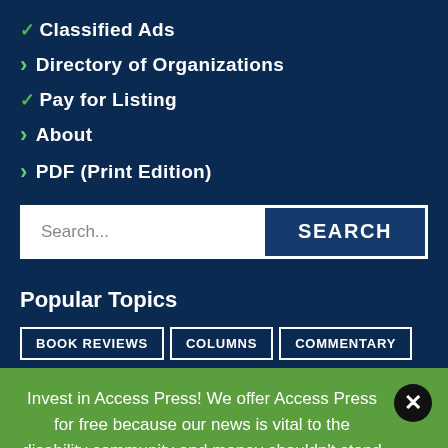✓ Classified Ads
› Directory of Organizations
✓ Pay for Listing
› About
› PDF (Print Edition)
[Figure (screenshot): Search bar with text field showing 'Search...' placeholder and a dark blue SEARCH button]
Popular Topics
BOOK REVIEWS
COLUMNS
COMMENTARY
Invest in Access Press! We offer Access Press for free because our news is vital to the disability community and money shouldn't stand in the way.
DONATE TODAY